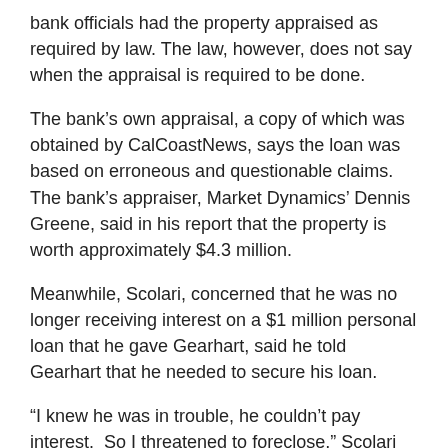bank officials had the property appraised as required by law. The law, however, does not say when the appraisal is required to be done.
The bank's own appraisal, a copy of which was obtained by CalCoastNews, says the loan was based on erroneous and questionable claims. The bank's appraiser, Market Dynamics' Dennis Greene, said in his report that the property is worth approximately $4.3 million.
Meanwhile, Scolari, concerned that he was no longer receiving interest on a $1 million personal loan that he gave Gearhart, said he told Gearhart that he needed to secure his loan.
“I knew he was in trouble, he couldn’t pay interest.  So I threatened to foreclose,” Scolari said. “It was personal.”
Then in the middle of April, 2008, Heritage Oaks Bank filed paperwork to take its name off of the dead of trust on one of 14 lots that make up a majority of the Vista del